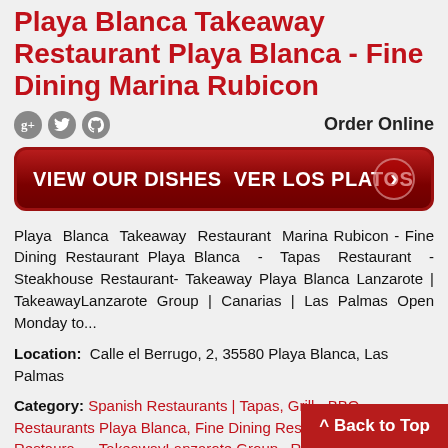Playa Blanca Takeaway Restaurant Playa Blanca - Fine Dining Marina Rubicon
[Figure (screenshot): Social media icons (Google+, Twitter, Facebook) and Order Online link]
[Figure (illustration): Red banner button: VIEW OUR DISHES VER LOS PLATOS with arrow]
Playa Blanca Takeaway Restaurant Marina Rubicon - Fine Dining Restaurant Playa Blanca - Tapas Restaurant - Steakhouse Restaurant- Takeaway Playa Blanca Lanzarote | TakeawayLanzarote Group | Canarias | Las Palmas Open Monday to...
Location: Calle el Berrugo, 2, 35580 Playa Blanca, Las Palmas
Category: Spanish Restaurants | Tapas, Grill - BBQ, Restaurants Playa Blanca, Fine Dining Restaurants Lanzarote, Restaurants TakeawayLanzarote Group, Restaurants